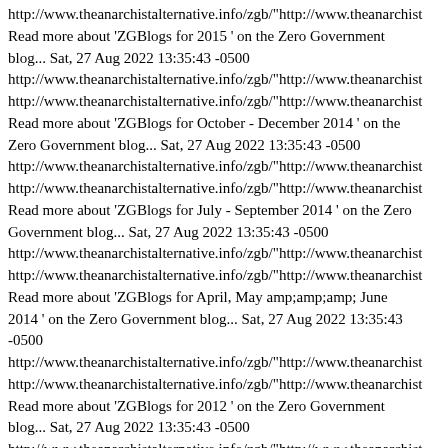http://www.theanarchistalternative.info/zgb/"http://www.theanarchist Read more about 'ZGBlogs for 2015 ' on the Zero Government blog... Sat, 27 Aug 2022 13:35:43 -0500 http://www.theanarchistalternative.info/zgb/"http://www.theanarchist http://www.theanarchistalternative.info/zgb/"http://www.theanarchist Read more about 'ZGBlogs for October - December 2014 ' on the Zero Government blog... Sat, 27 Aug 2022 13:35:43 -0500 http://www.theanarchistalternative.info/zgb/"http://www.theanarchist http://www.theanarchistalternative.info/zgb/"http://www.theanarchist Read more about 'ZGBlogs for July - September 2014 ' on the Zero Government blog... Sat, 27 Aug 2022 13:35:43 -0500 http://www.theanarchistalternative.info/zgb/"http://www.theanarchist http://www.theanarchistalternative.info/zgb/"http://www.theanarchist Read more about 'ZGBlogs for April, May amp;amp;amp; June 2014 ' on the Zero Government blog... Sat, 27 Aug 2022 13:35:43 -0500 http://www.theanarchistalternative.info/zgb/"http://www.theanarchist http://www.theanarchistalternative.info/zgb/"http://www.theanarchist Read more about 'ZGBlogs for 2012 ' on the Zero Government blog... Sat, 27 Aug 2022 13:35:43 -0500 http://www.theanarchistalternative.info/zgb/"http://www.theanarchist http://www.theanarchistalternative.info/zgb/"http://www.theanarchist Read more about 'ZGBlogs for October - December 2011 ' on the Zero Government blog... Sat, 27 Aug 2022 13:35:43 -0500 http://www.theanarchistalternative.info/zgb/"http://www.theanarchist